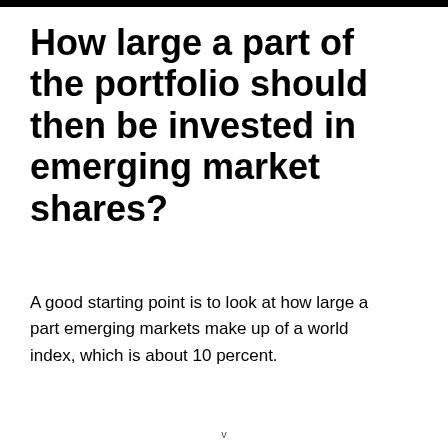How large a part of the portfolio should then be invested in emerging market shares?
A good starting point is to look at how large a part emerging markets make up of a world index, which is about 10 percent.
v